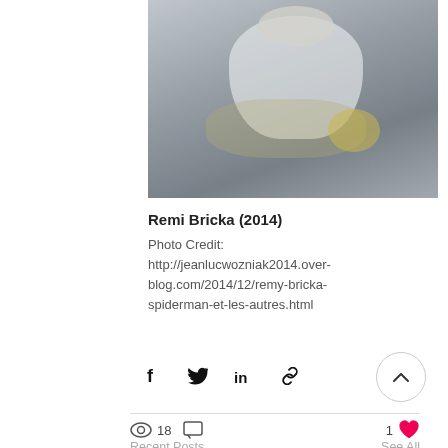[Figure (photo): Person in white outfit holding a decorated guitar/instrument, blurred background with shelves]
Remi Bricka (2014)
Photo Credit:
http://jeanlucwozniak2014.over-blog.com/2014/12/remy-bricka-spiderman-et-les-autres.html
18 views  |  1 like
Recent Posts    See All